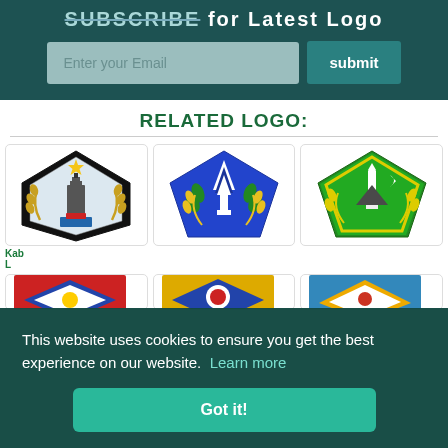[Figure (screenshot): Subscribe banner with email input and submit button on dark teal background]
RELATED LOGO:
[Figure (logo): Three Indonesian regional government coat of arms logos in cards - black/gold pentagon, blue pentagon, green pentagon]
Kab... L...
[Figure (logo): Partial second row of Indonesian regional logos]
This website uses cookies to ensure you get the best experience on our website.  Learn more
Got it!